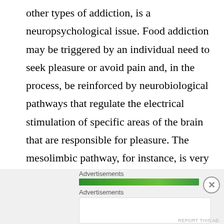other types of addiction, is a neuropsychological issue. Food addiction may be triggered by an individual need to seek pleasure or avoid pain and, in the process, be reinforced by neurobiological pathways that regulate the electrical stimulation of specific areas of the brain that are responsible for pleasure. The mesolimbic pathway, for instance, is very important when looking at how reward and pleasure are processed in the brain, as it is responsible for the transport of dopamine, a neurotransmitter that modulates our mood, motivation, and other higher cognitive functions.
Advertisements
[Figure (other): Green advertisement banner bar]
Advertisements
[Figure (other): Automattic advertisement box with text: Build a better web and a better world.]